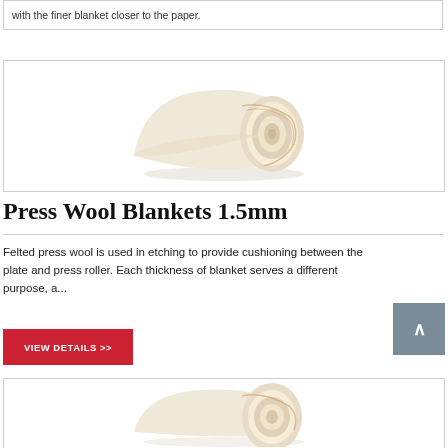with the finer blanket closer to the paper.
[Figure (photo): Rolled press wool blanket, cream/beige color, showing layered edge]
Press Wool Blankets 1.5mm
Felted press wool is used in etching to provide cushioning between the plate and press roller. Each thickness of blanket serves a different purpose, a...
VIEW DETAILS >>
[Figure (photo): Second rolled press wool blanket, cream/beige color, partially visible]